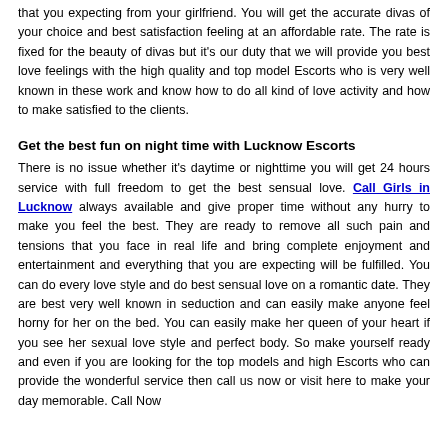that you expecting from your girlfriend. You will get the accurate divas of your choice and best satisfaction feeling at an affordable rate. The rate is fixed for the beauty of divas but it's our duty that we will provide you best love feelings with the high quality and top model Escorts who is very well known in these work and know how to do all kind of love activity and how to make satisfied to the clients.
Get the best fun on night time with Lucknow Escorts
There is no issue whether it's daytime or nighttime you will get 24 hours service with full freedom to get the best sensual love. Call Girls in Lucknow always available and give proper time without any hurry to make you feel the best. They are ready to remove all such pain and tensions that you face in real life and bring complete enjoyment and entertainment and everything that you are expecting will be fulfilled. You can do every love style and do best sensual love on a romantic date. They are best very well known in seduction and can easily make anyone feel horny for her on the bed. You can easily make her queen of your heart if you see her sexual love style and perfect body. So make yourself ready and even if you are looking for the top models and high Escorts who can provide the wonderful service then call us now or visit here to make your day memorable. Call Now